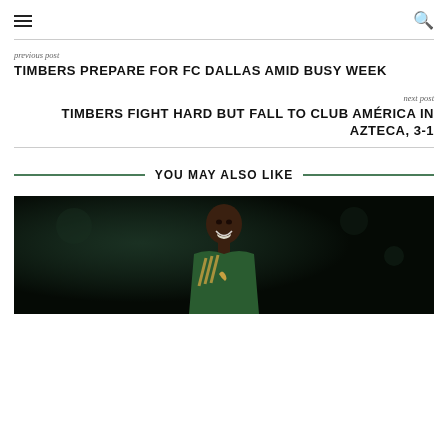≡  🔍
previous post
TIMBERS PREPARE FOR FC DALLAS AMID BUSY WEEK
next post
TIMBERS FIGHT HARD BUT FALL TO CLUB AMÉRICA IN AZTECA, 3-1
YOU MAY ALSO LIKE
[Figure (photo): A smiling soccer player wearing a green Portland Timbers jersey with adidas stripes and a gold ribbon, photographed against a dark background]